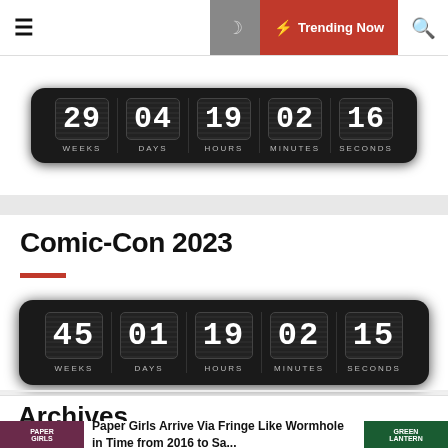☰ 🌙 ⚡ Trending Now 🔍
[Figure (other): Flip countdown clock showing 29 WEEKS 04 DAYS 19 HOURS 02 MINUTES 16 SECONDS on dark background]
Comic-Con 2023
[Figure (other): Flip countdown clock showing 45 WEEKS 01 DAYS 19 HOURS 02 MINUTES 15 SECONDS on dark background]
Total visitors : 3,432,797
Archives
Paper Girls Arrive Via Fringe Like Wormhole in Time from 2016 to Sa...